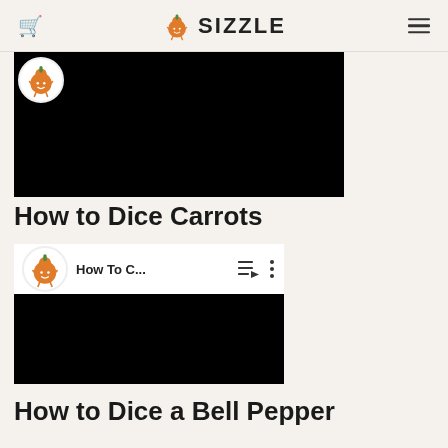SIZZLE
[Figure (screenshot): Black video player area, partially visible at top of page]
How to Dice Carrots
[Figure (screenshot): Video player showing 'How To C...' with Sizzle onion logo avatar, playlist icon, and three-dots menu icon. Black video content below.]
How to Dice a Bell Pepper